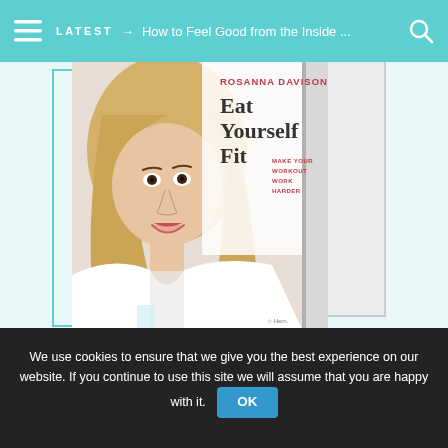LATEST → How to Feel Good from the Inside ...
[Figure (photo): Book cover of 'Eat Yourself Fit' by Rosanna Davison, showing a blonde woman in a white top holding a glass, with the subtitle 'Make Your Workout Work Harder']
We use cookies to ensure that we give you the best experience on our website. If you continue to use this site we will assume that you are happy with it.